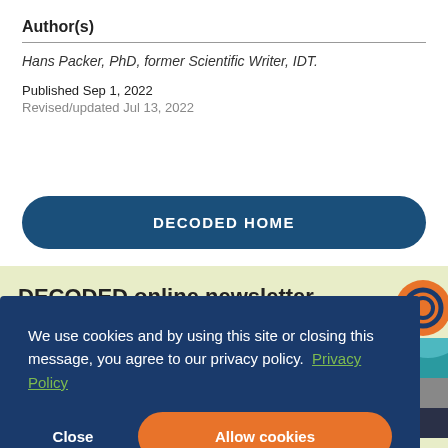Author(s)
Hans Packer, PhD, former Scientific Writer, IDT.
Published Sep 1, 2022
Revised/updated Jul 13, 2022
DECODED HOME
DECODED online newsletter
We use cookies and by using this site or closing this message, you agree to our privacy policy.  Privacy Policy
Close  Allow cookies